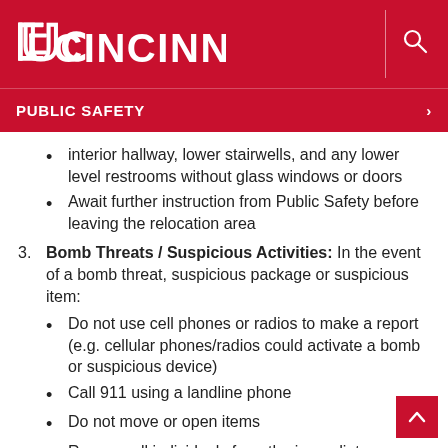UC CINCINNATI | PUBLIC SAFETY
interior hallway, lower stairwells, and any lower level restrooms without glass windows or doors
Await further instruction from Public Safety before leaving the relocation area
3. Bomb Threats / Suspicious Activities: In the event of a bomb threat, suspicious package or suspicious item:
Do not use cell phones or radios to make a report (e.g. cellular phones/radios could activate a bomb or suspicious device)
Call 911 using a landline phone
Do not move or open items
Remove all individuals from the immediate area, lock the door, secure the building, and